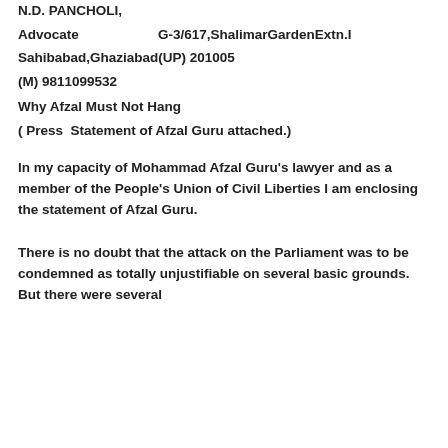N.D. PANCHOLI,
Advocate                    G-3/617,ShalimarGardenExtn.I
Sahibabad,Ghaziabad(UP) 201005
(M) 9811099532
Why Afzal Must Not Hang
( Press  Statement of Afzal Guru attached.)
In my capacity of Mohammad Afzal Guru's lawyer and as a member of the People's Union of Civil Liberties I am enclosing the statement of Afzal Guru.
There is no doubt that the attack on the Parliament was to be condemned as totally unjustifiable on several basic grounds.  But there were several